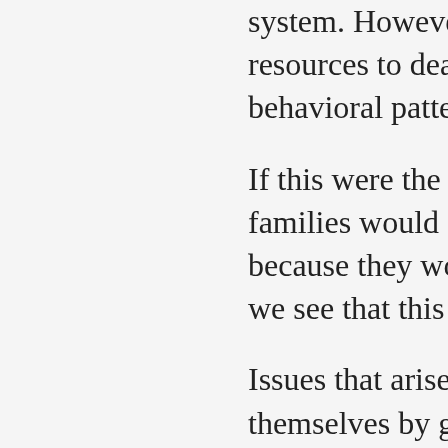system. However, no school teacher has the time nor the resources to deal with troubled children and their behavioral patterns as a result.
If this were the case, children from poor or troubled families would do better than children from stable homes, because they would be benefiting from it more. However, we see that this is not the case.
Issues that arise from a troubled home life do not fix themselves by getting 5 minutes of attention, from an overwhelmed, overworked teacher who is just trying to keep the classroom in order and get through a lesson.